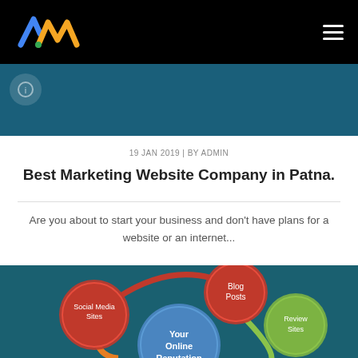AM logo and navigation
[Figure (photo): Dark teal hero image top section with partial icon visible]
19 JAN 2019 | BY ADMIN
Best Marketing Website Company in Patna.
Are you about to start your business and don't have plans for a website or an internet...
[Figure (infographic): Circular infographic on dark teal background showing online reputation components: Blog Posts (red circle, top), Review Sites (green circle, right), Social Media Sites (red circle, left), Your Online Reputation (blue circle, center), connected by colored arcs]